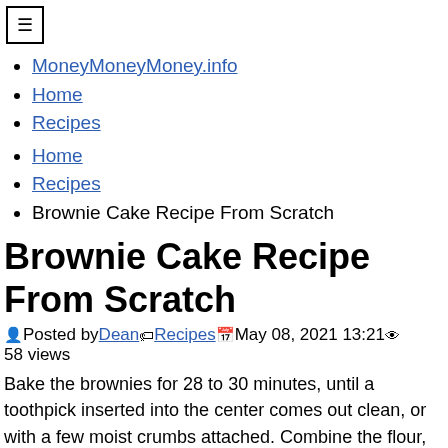☰
MoneyMoneyMoney.info
Home
Recipes
Home
Recipes
Brownie Cake Recipe From Scratch
Brownie Cake Recipe From Scratch
Posted by Dean Recipes May 08, 2021 13:21 58 views
Bake the brownies for 28 to 30 minutes, until a toothpick inserted into the center comes out clean, or with a few moist crumbs attached. Combine the flour, baking soda, and salt.
Pin On Chocolate
Spread batter into prepared pan.